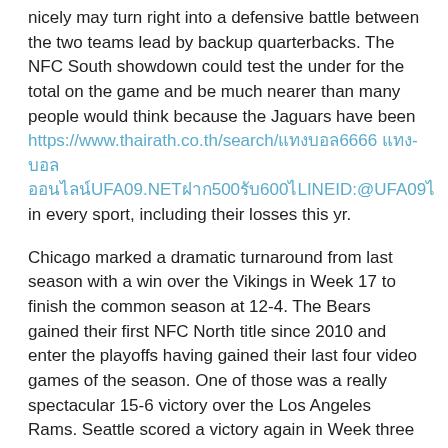nicely may turn right into a defensive battle between the two teams lead by backup quarterbacks. The NFC South showdown could test the under for the total on the game and be much nearer than many people would think because the Jaguars have been https://www.thairath.co.th/search/แทงบอล6666 แทง-บอล ออนไลน์UFA09.NETฝาก500รับ600ไLINEID:@UFA09ไ in every sport, including their losses this yr.
Chicago marked a dramatic turnaround from last season with a win over the Vikings in Week 17 to finish the common season at 12-4. The Bears gained their first NFC North title since 2010 and enter the playoffs having gained their last four video games of the season. One of those was a really spectacular 15-6 victory over the Los Angeles Rams. Seattle scored a victory again in Week three behind 102 rushing yards from RB Chris Carson, the Seahawks' leading rusher.
Teams extra more likely to make the playoffs supply lower odds and a smaller payout. Odds to win the NFL Super Bowl are calculated on the conclusion of the earlier NFL season and are updated because the season progresses.